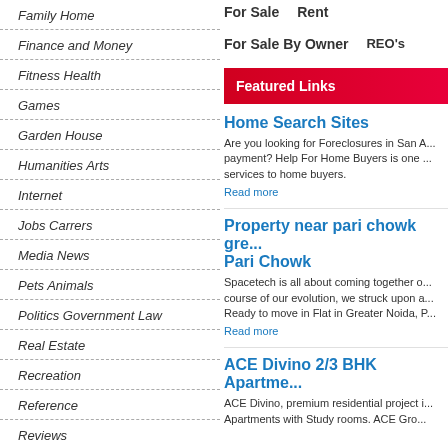Family Home
Finance and Money
Fitness Health
Games
Garden House
Humanities Arts
Internet
Jobs Carrers
Media News
Pets Animals
Politics Government Law
Real Estate
Recreation
Reference
For Sale    Rent
For Sale By Owner    REO's
Featured Links
Home Search Sites
Are you looking for Foreclosures in San A... payment? Help For Home Buyers is one ... services to home buyers.
Read more
Property near pari chowk gre... Pari Chowk
Spacetech is all about coming together o... course of our evolution, we struck upon a... Ready to move in Flat in Greater Noida, P...
Read more
ACE Divino 2/3 BHK Apartme...
ACE Divino, premium residential project i... Apartments with Study rooms. ACE Gro...